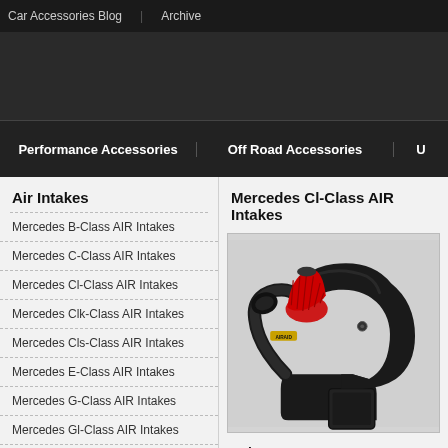Car Accessories Blog   Archive
Performance Accessories
Off Road Accessories
Air Intakes
Mercedes Cl-Class AIR Intakes
Mercedes B-Class AIR Intakes
Mercedes C-Class AIR Intakes
Mercedes Cl-Class AIR Intakes
Mercedes Clk-Class AIR Intakes
Mercedes Cls-Class AIR Intakes
Mercedes E-Class AIR Intakes
Mercedes G-Class AIR Intakes
Mercedes Gl-Class AIR Intakes
[Figure (photo): Air intake product photo showing black housing with red cone filter and square inlet]
Select Year: